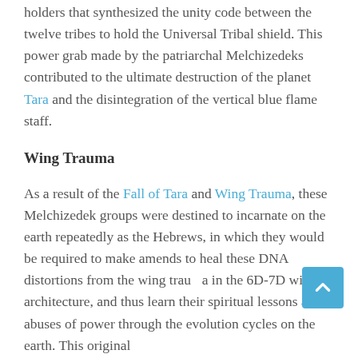holders that synthesized the unity code between the twelve tribes to hold the Universal Tribal shield. This power grab made by the patriarchal Melchizedeks contributed to the ultimate destruction of the planet Tara and the disintegration of the vertical blue flame staff.
Wing Trauma
As a result of the Fall of Tara and Wing Trauma, these Melchizedek groups were destined to incarnate on the earth repeatedly as the Hebrews, in which they would be required to make amends to heal these DNA distortions from the wing trauma in the 6D-7D wing architecture, and thus learn their spiritual lessons about abuses of power through the evolution cycles on the earth. This original